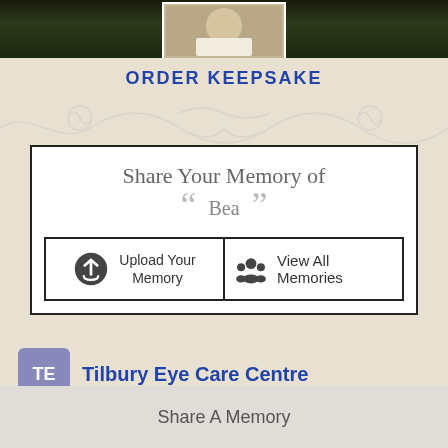[Figure (photo): Dark nature/waterfall background banner with a small centered portrait photo of a person in white clothing]
ORDER KEEPSAKE
[Figure (illustration): Light gray decorative floral/scroll ornament divider]
Share Your Memory of Bea
Upload Your Memory
View All Memories
Tilbury Eye Care Centre
Share A Memory